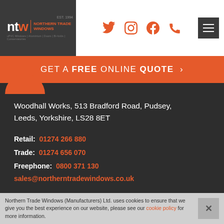[Figure (logo): Northern Trade Windows logo with NTW letters and brand name, EST. 1994]
[Figure (infographic): Social media icons: Twitter, Instagram, Facebook, Phone]
GET A FREE ONLINE QUOTE >
Woodhall Works, 513 Bradford Road, Pudsey, Leeds, Yorkshire, LS28 8ET
Retail: 01274 266 880
Trade: 01274 656 070
Freephone: 0800 371 130
sales@northerntradewindows.co.uk
Northern Trade Windows (Manufacturers) Ltd. uses cookies to ensure that we give you the best experience on our website, please see our cookie policy for more information.